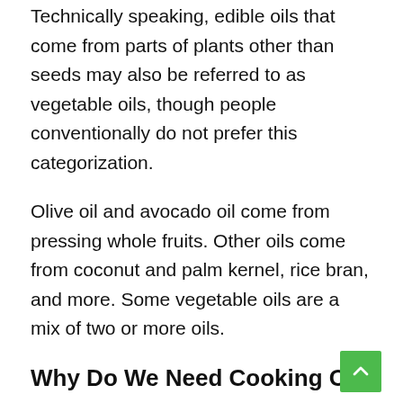Technically speaking, edible oils that come from parts of plants other than seeds may also be referred to as vegetable oils, though people conventionally do not prefer this categorization.
Olive oil and avocado oil come from pressing whole fruits. Other oils come from coconut and palm kernel, rice bran, and more. Some vegetable oils are a mix of two or more oils.
Why Do We Need Cooking Oil
A large number of calorie-conscious people